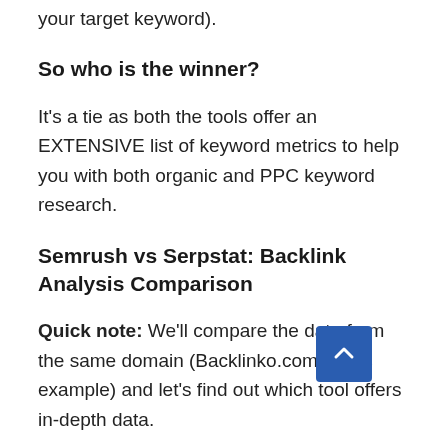your target keyword).
So who is the winner?
It's a tie as both the tools offer an EXTENSIVE list of keyword metrics to help you with both organic and PPC keyword research.
Semrush vs Serpstat: Backlink Analysis Comparison
Quick note: We'll compare the data from the same domain (Backlinko.com in this example) and let's find out which tool offers in-depth data.
Semrush calls its backlinks analysis tool as